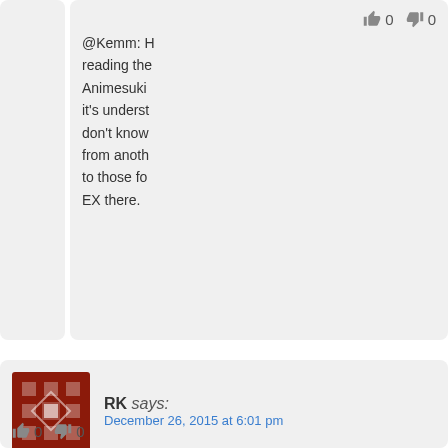0  0  @Kemm: H... reading the... Animesuki... it's underst... don't know... from anoth... to those fo... EX there.
RK says: December 26, 2015 at 6:01 pm
0  0